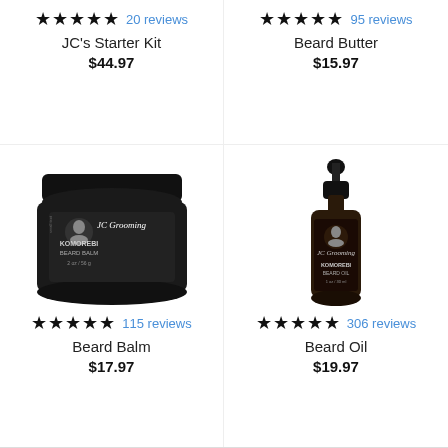[Figure (photo): JC's Starter Kit product - top left cell with rating stars 5/5, 20 reviews, name, and price $44.97]
[Figure (photo): Beard Butter product - top right cell with rating stars 5/5, 95 reviews, name, and price $15.97]
[Figure (photo): Beard Balm jar (Komorebi Beard Balm, 2oz/56g) - bottom left cell with rating stars 5/5, 115 reviews, name, and price $17.97]
[Figure (photo): Beard Oil dropper bottle (Komorebi Beard Oil) - bottom right cell with rating stars 5/5, 306 reviews, name, and price $19.97]